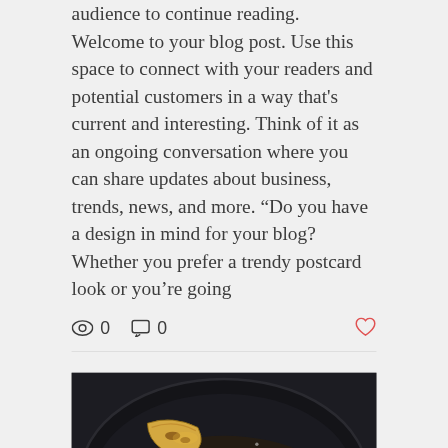audience to continue reading. Welcome to your blog post. Use this space to connect with your readers and potential customers in a way that's current and interesting. Think of it as an ongoing conversation where you can share updates about business, trends, news, and more. “Do you have a design in mind for your blog? Whether you prefer a trendy postcard look or you’re going
[Figure (photo): Food photo showing sliced bananas being cooked/caramelized in a dark cast iron skillet, viewed from above]